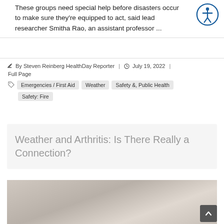These groups need special help before disasters occur to make sure they're equipped to act, said lead researcher Smitha Rao, an assistant professor ...
By Steven Reinberg HealthDay Reporter | July 19, 2022 | Full Page
Emergencies / First Aid
Weather
Safety &, Public Health
Safety: Fire
Weather and Arthritis: Is There Really a Connection?
[Figure (photo): Photo of hands, likely depicting arthritis subject matter]